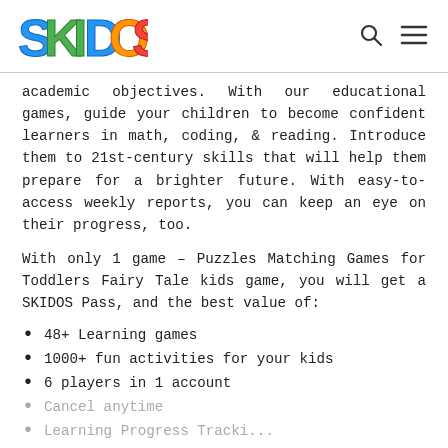SKIDOS
academic objectives. With our educational games, guide your children to become confident learners in math, coding, & reading. Introduce them to 21st-century skills that will help them prepare for a brighter future. With easy-to-access weekly reports, you can keep an eye on their progress, too.
With only 1 game – Puzzles Matching Games for Toddlers Fairy Tale kids game, you will get a SKIDOS Pass, and the best value of:
48+ Learning games
1000+ fun activities for your kids
6 players in 1 account
Cancel anytime
Learning Progress Tracking...